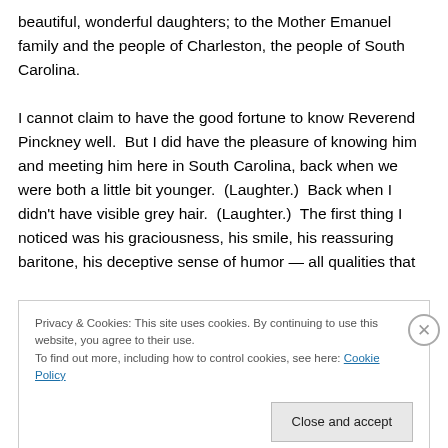beautiful, wonderful daughters; to the Mother Emanuel family and the people of Charleston, the people of South Carolina.
I cannot claim to have the good fortune to know Reverend Pinckney well.  But I did have the pleasure of knowing him and meeting him here in South Carolina, back when we were both a little bit younger.  (Laughter.)  Back when I didn't have visible grey hair.  (Laughter.)  The first thing I noticed was his graciousness, his smile, his reassuring baritone, his deceptive sense of humor — all qualities that
Privacy & Cookies: This site uses cookies. By continuing to use this website, you agree to their use.
To find out more, including how to control cookies, see here: Cookie Policy